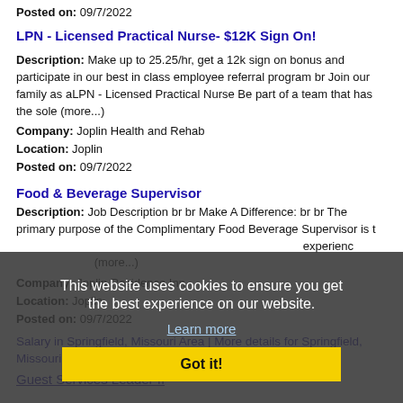Posted on: 09/7/2022
LPN - Licensed Practical Nurse- $12K Sign On!
Description: Make up to 25.25/hr, get a 12k sign on bonus and participate in our best in class employee referral program br Join our family as aLPN - Licensed Practical Nurse Be part of a team that has the sole (more...)
Company: Joplin Health and Rehab
Location: Joplin
Posted on: 09/7/2022
Food & Beverage Supervisor
Description: Job Description br br Make A Difference: br br The primary purpose of the Complimentary Food Beverage Supervisor is to provide the highest degree of quality guest service and experience while ensuring (more...)
Company: Joplin Residence Inn
Location: Joplin
Posted on: 09/7/2022
This website uses cookies to ensure you get the best experience on our website. Learn more Got it!
Salary in Springfield, Missouri Area | More details for Springfield, Missouri Jobs |Salary
Guest Services Leader II